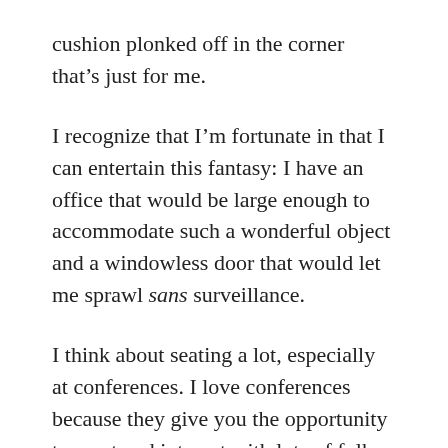cushion plonked off in the corner that's just for me.
I recognize that I'm fortunate in that I can entertain this fantasy: I have an office that would be large enough to accommodate such a wonderful object and a windowless door that would let me sprawl sans surveillance.
I think about seating a lot, especially at conferences. I love conferences because they give you the opportunity to meet and interact with lots of folks. You start having “conference buddies.” But even if the conference is awesome, the chairs are not. Conference chairs are always uncomfortable. And I’ve been well trained to not squirm around in my seat, no matter how